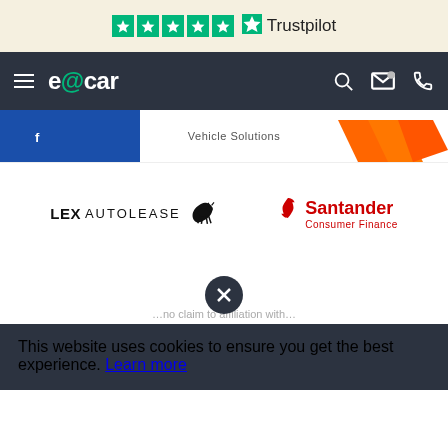[Figure (logo): Trustpilot 5-star rating bar with green star icons and Trustpilot logo]
e@car navigation bar with hamburger menu, logo, search, email and phone icons
[Figure (logo): Vehicle Solutions text logo (partially visible)]
[Figure (logo): Lex Autolease logo with horse icon]
[Figure (logo): Santander Consumer Finance logo with flame icon]
...no claim to affiliation with...
This website uses cookies to ensure you get the best experience. Learn more